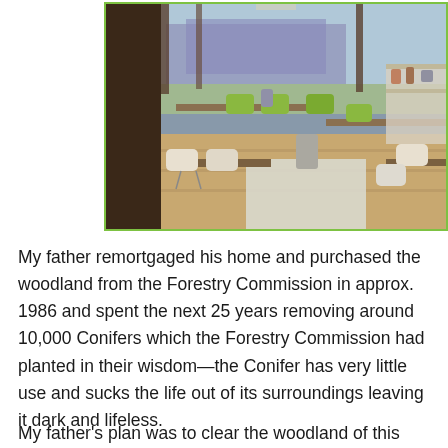[Figure (photo): Interior of a café or restaurant with wooden tables and green/white modern chairs. There is a nature-themed mural on the back wall showing trees and purple flowers. The space has a natural, woodland-inspired aesthetic.]
My father remortgaged his home and purchased the woodland from the Forestry Commission in approx. 1986 and spent the next 25 years removing around 10,000 Conifers which the Forestry Commission had planted in their wisdom—the Conifer has very little use and sucks the life out of its surroundings leaving it dark and lifeless.
My father's plan was to clear the woodland of this